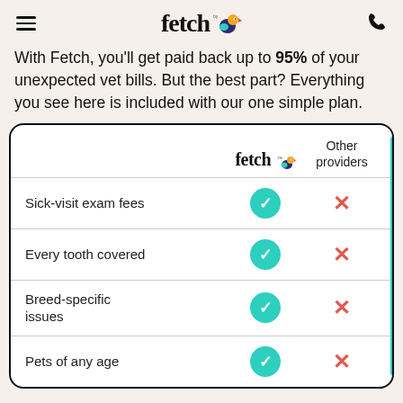fetch by (logo with bird icon) — phone icon
With Fetch, you'll get paid back up to 95% of your unexpected vet bills. But the best part? Everything you see here is included with our one simple plan.
|  | fetch (logo) | Other providers |
| --- | --- | --- |
| Sick-visit exam fees | ✓ | ✗ |
| Every tooth covered | ✓ | ✗ |
| Breed-specific issues | ✓ | ✗ |
| Pets of any age | ✓ | ✗ |